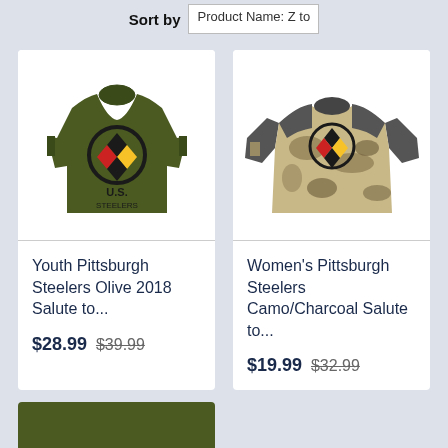Sort by  Product Name: Z to
[Figure (photo): Youth Pittsburgh Steelers olive green long-sleeve shirt with Steelers logo and U.S. text]
Youth Pittsburgh Steelers Olive 2018 Salute to...
$28.99  $39.99
[Figure (photo): Women's Pittsburgh Steelers camo/charcoal raglan shirt with Steelers logo]
Women's Pittsburgh Steelers Camo/Charcoal Salute to...
$19.99  $32.99